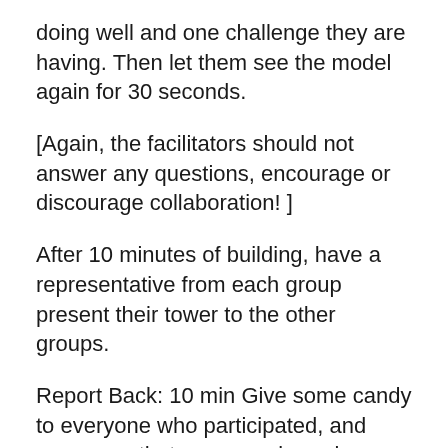doing well and one challenge they are having. Then let them see the model again for 30 seconds.
[Again, the facilitators should not answer any questions, encourage or discourage collaboration! ]
After 10 minutes of building, have a representative from each group present their tower to the other groups.
Report Back: 10 min Give some candy to everyone who participated, and announce that everyone is a winner.
Debrief: 15 min
The facilitators should ask the following questions of the entire group.
Raise your hand if your group built a tower. Did you